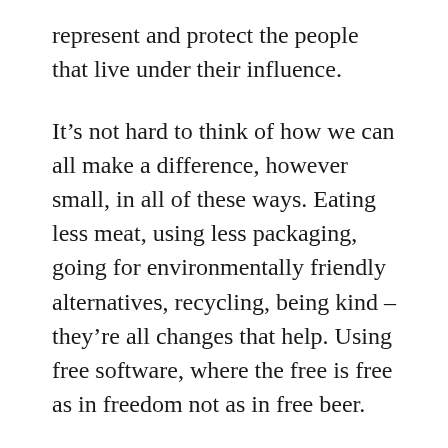represent and protect the people that live under their influence.
It’s not hard to think of how we can all make a difference, however small, in all of these ways. Eating less meat, using less packaging, going for environmentally friendly alternatives, recycling, being kind – they’re all changes that help. Using free software, where the free is free as in freedom not as in free beer.
It’s hard to be ignorant these days and it’s also very easy to be ignorant. You can wall